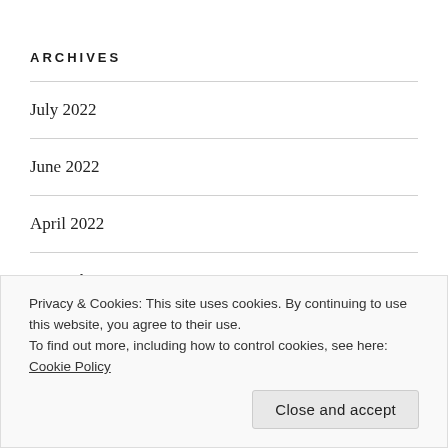ARCHIVES
July 2022
June 2022
April 2022
November 2021
September 2021
Privacy & Cookies: This site uses cookies. By continuing to use this website, you agree to their use.
To find out more, including how to control cookies, see here: Cookie Policy
Close and accept
April 2021